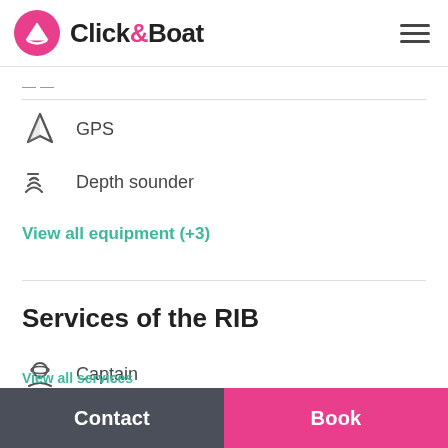Click&Boat
GPS
Depth sounder
View all equipment (+3)
Services of the RIB
Captain
Fuel
View all services
Contact
Book